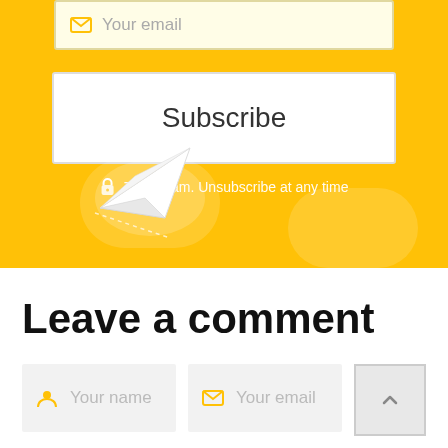[Figure (illustration): Yellow subscription section with email input field showing 'Your email' placeholder, a white Subscribe button, a 'Zero spam. Unsubscribe at any time' message with lock icon, decorative clouds, and a paper airplane illustration]
Leave a comment
[Figure (screenshot): Comment form with 'Your name' input field with person icon, 'Your email' input field with envelope icon, and a scroll-to-top arrow button]